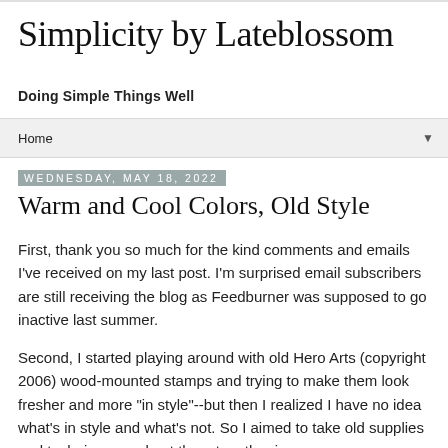Simplicity by Lateblossom
Doing Simple Things Well
Home ▼
Wednesday, May 18, 2022
Warm and Cool Colors, Old Style
First, thank you so much for the kind comments and emails I've received on my last post. I'm surprised email subscribers are still receiving the blog as Feedburner was supposed to go inactive last summer.
Second, I started playing around with old Hero Arts (copyright 2006) wood-mounted stamps and trying to make them look fresher and more "in style"--but then I realized I have no idea what's in style and what's not. So I aimed to take old supplies and techniques and put them together in a